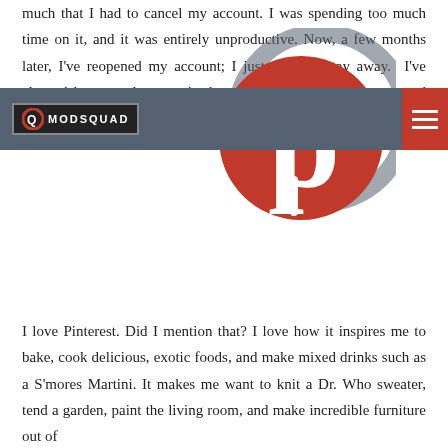much that I had to cancel my account. I was spending too much time on it, and it was entirely unproductive. Now, a few months later, I've reopened my account; I just couldn't stay away.  I've cleaned house and reorganized my pins and boards, I've stopped following some people and I've began following others.
[Figure (logo): Pinterest logo - red circular P icon]
[Figure (logo): ModSquad logo - dark nav bar with MODSQUAD text and Q icon, hamburger menu on red background]
I love Pinterest. Did I mention that? I love how it inspires me to bake, cook delicious, exotic foods, and make mixed drinks such as a S'mores Martini. It makes me want to knit a Dr. Who sweater, tend a garden, paint the living room, and make incredible furniture out of